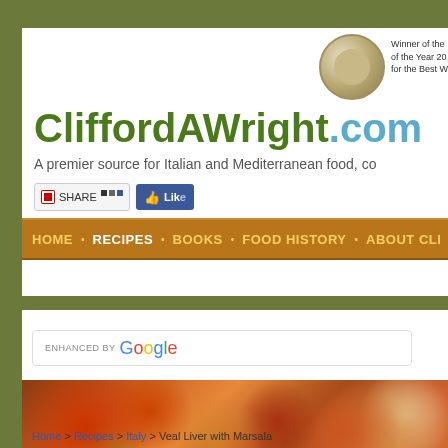CliffordAWright.com — A premier source for Italian and Mediterranean food, co...
Winner of the of the Year 20 for the Best W
CliffordAWright.com
A premier source for Italian and Mediterranean food, co
SHARE | Like
HOME • RECIPES • BOOKS • FOOD HISTORY • ABOUT CLI
[Figure (screenshot): Google search box with 'ENHANCED BY Google' text]
[Figure (photo): Food photo showing grilled meat kebabs with tomatoes and green peppers on skewers]
Home > Recipes > Italy > Veal Liver with Marsala